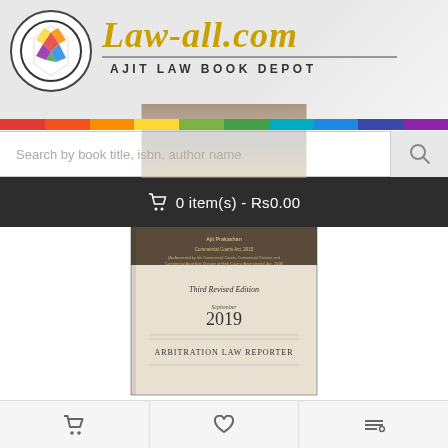Law-all.com — AJIT LAW BOOK DEPOT
Search by book title, isbn, author name
🛒 0 item(s) - Rs0.00
[Figure (photo): Book cover: ALR's Compendium of Arbitration and Conciliation Act, 1996 and Allied Laws [HB], Third Revised Edition, September 2019, Arbitration Law Reporter]
ALR's Compendium of Arbitration and Conciliation Act, 1996 and Allied Laws [HB]
..
Rs595.00